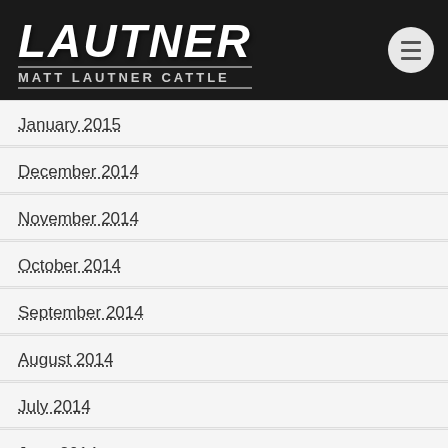[Figure (logo): Lautner / Matt Lautner Cattle logo in white italic bold text on black background]
January 2015
December 2014
November 2014
October 2014
September 2014
August 2014
July 2014
June 2014
May 2014